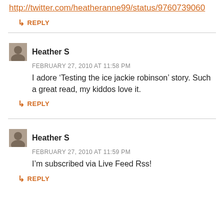http://twitter.com/heatheranne99/status/9760739060
↳ REPLY
Heather S
FEBRUARY 27, 2010 AT 11:58 PM
I adore ‘Testing the ice jackie robinson’ story. Such a great read, my kiddos love it.
↳ REPLY
Heather S
FEBRUARY 27, 2010 AT 11:59 PM
I’m subscribed via Live Feed Rss!
↳ REPLY